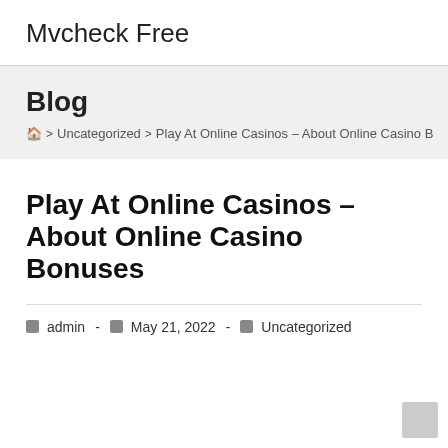Mvcheck Free
Blog
🏠 > Uncategorized > Play At Online Casinos – About Online Casino B
Play At Online Casinos – About Online Casino Bonuses
🗓 admin - 📅 May 21, 2022 - 🏷 Uncategorized